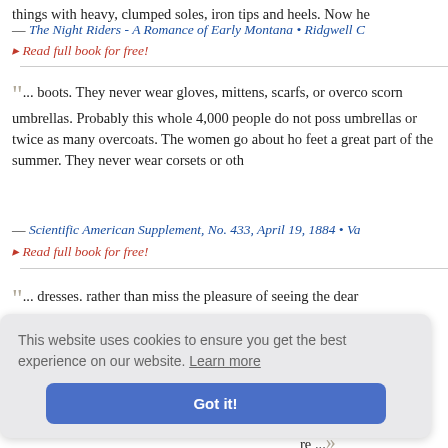things with heavy, clumped soles, iron tips and heels. Now he
— The Night Riders - A Romance of Early Montana • Ridgwell C
Read full book for free!
... boots. They never wear gloves, mittens, scarfs, or overco scorn umbrellas. Probably this whole 4,000 people do not poss umbrellas or twice as many overcoats. The women go about ho feet a great part of the summer. They never wear corsets or oth
— Scientific American Supplement, No. 433, April 19, 1884 • Va
Read full book for free!
... dresses. rather than miss the pleasure of seeing the dear ostrum, and Mother by the ungr us to feast ese facts le re ...
Read full book for free!
This website uses cookies to ensure you get the best experience on our website. Learn more
Got it!